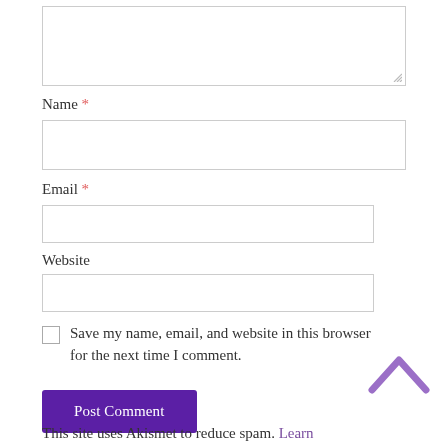[Figure (screenshot): A textarea form input box, partially visible at the top of the page, with a resize handle in the bottom-right corner.]
Name *
[Figure (screenshot): A wide text input field for Name.]
Email *
[Figure (screenshot): A medium text input field for Email.]
Website
[Figure (screenshot): A medium text input field for Website.]
Save my name, email, and website in this browser for the next time I comment.
[Figure (screenshot): Post Comment button, purple background with white text.]
[Figure (illustration): A purple upward-pointing chevron/arrow icon in the bottom-right area.]
This site uses Akismet to reduce spam. Learn